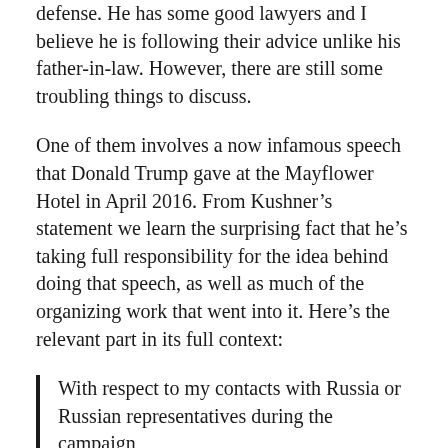defense. He has some good lawyers and I believe he is following their advice unlike his father-in-law. However, there are still some troubling things to discuss.
One of them involves a now infamous speech that Donald Trump gave at the Mayflower Hotel in April 2016. From Kushner’s statement we learn the surprising fact that he’s taking full responsibility for the idea behind doing that speech, as well as much of the organizing work that went into it. Here’s the relevant part in its full context:
With respect to my contacts with Russia or Russian representatives during the campaign,